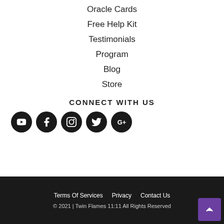Start Guide
Oracle Cards
Free Help Kit
Testimonials
Program
Blog
Store
CONNECT WITH US
[Figure (infographic): Row of 5 social media icons (YouTube, Facebook, Instagram, Twitter, Google+) as dark circular buttons]
Terms Of Services   Privacy   Contact Us
© 2021 | Twin Flames 11:11 All Rights Reserved